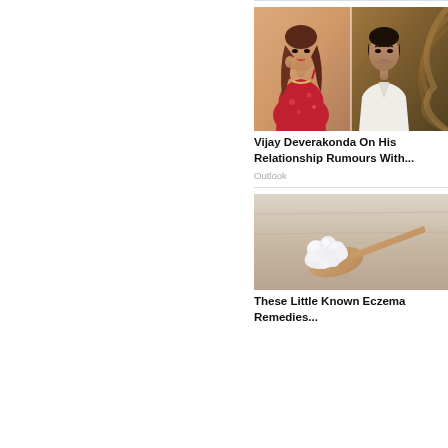[Figure (photo): Two Bollywood celebrities side by side: a woman in red floral dress and a man in white shirt]
Vijay Deverakonda On His Relationship Rumours With...
Outlook
[Figure (photo): White fluffy substance (likely camphor or cotton) on a wooden spoon against a grey background]
These Little Known Eczema Remedies...